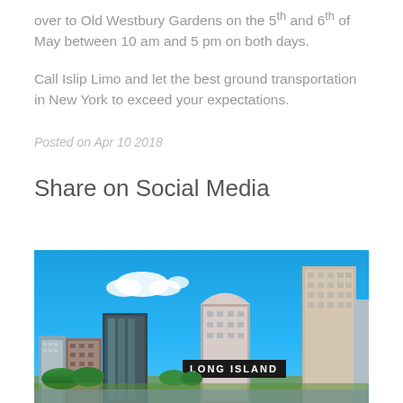over to Old Westbury Gardens on the 5th and 6th of May between 10 am and 5 pm on both days.
Call Islip Limo and let the best ground transportation in New York to exceed your expectations.
Posted on Apr 10 2018
Share on Social Media
[Figure (photo): Cityscape photo of Long Island city skyline with tall residential and commercial buildings against a bright blue sky with white clouds. A 'Long Island' sign is visible in the lower center of the image.]